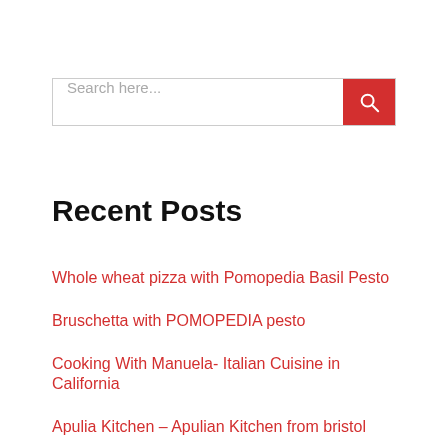[Figure (other): Search bar with text input field showing placeholder 'Search here...' and a red search button with magnifying glass icon on the right]
Recent Posts
Whole wheat pizza with Pomopedia Basil Pesto
Bruschetta with POMOPEDIA pesto
Cooking With Manuela- Italian Cuisine in California
Apulia Kitchen – Apulian Kitchen from bristol
Sugar Love Spices – Nicoletta & Loreto